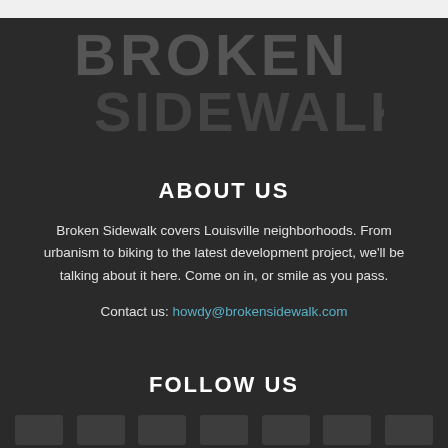[Figure (logo): Broken Sidewalk logo in large stencil-style letters on dark background. 'BROKEN' on top line, 'SIDEWALK' on bottom line, rendered in dark gray.]
ABOUT US
Broken Sidewalk covers Louisville neighborhoods. From urbanism to biking to the latest development project, we'll be talking about it here. Come on in, or smile as you pass.
Contact us: howdy@brokensidewalk.com
FOLLOW US